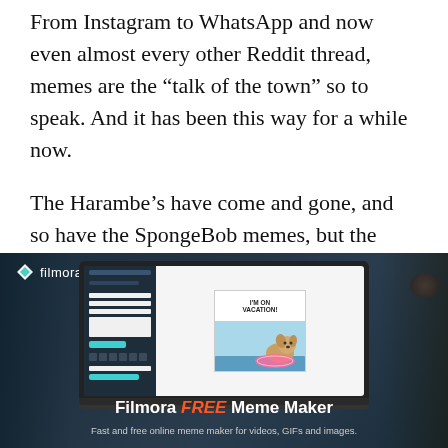From Instagram to WhatsApp and now even almost every other Reddit thread, memes are the “talk of the town” so to speak. And it has been this way for a while now.
The Harambe’s have come and gone, and so have the SpongeBob memes, but the things that remain are the hype they brought along with them. The trends they set.
[Figure (screenshot): Filmora meme maker advertisement showing a laptop with a meme editor interface. The meme shown has text 'I'M ON VACATION!' with a dog image. Below the laptop reads 'Filmora FREE Meme Maker' with subtitle 'Fast and free online meme maker for videos, GIFs and images.' The Filmora logo with diamond icon appears top-left.]